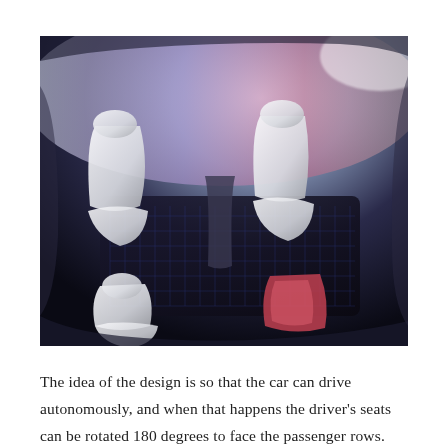[Figure (photo): Interior concept of an autonomous vehicle showing futuristic white seats arranged in two rows. The driver's seats appear to be rotatable. The cabin has a wide, spacious design with dark flooring and a panoramic glass roof. Some seats have red accents. The image is taken from a top-down angle showing the full interior layout.]
The idea of the design is so that the car can drive autonomously, and when that happens the driver's seats can be rotated 180 degrees to face the passenger rows. These two rows can also be adjoined